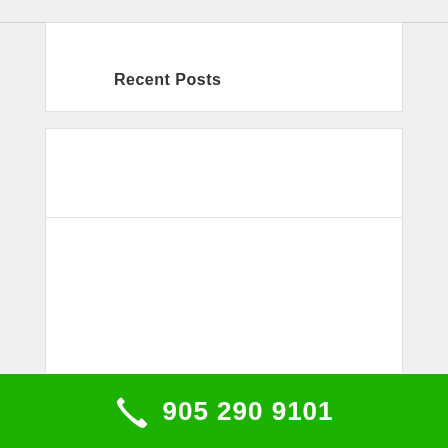Recent Posts
Indoor Mold Short Video
Molds are commonly found in buildings and homes. They grow in damp or wet places such as around leaks in roofs, windows, or pipes, or where there has ...
905 290 9101